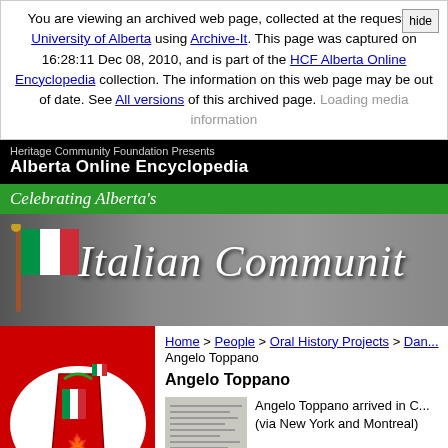You are viewing an archived web page, collected at the request of University of Alberta using Archive-It. This page was captured on 16:28:11 Dec 08, 2010, and is part of the HCF Alberta Online Encyclopedia collection. The information on this web page may be out of date. See All versions of this archived page. Loading media information
Heritage Community Foundation Presents Alberta Online Encyclopedia
Celebrating Alberta's
[Figure (illustration): Italian Community banner with Italian flag and text 'Italian Communit' on grey background with historical crowd photos]
[Figure (illustration): Logo showing map of Alberta with Italian and Canadian flag elements on red background with white oval]
Home > People > Oral History Projects > Dan... Angelo Toppano
Angelo Toppano
[Figure (photo): Black and white photo of Angelo Toppano]
Angelo Toppano arrived in C... (via New York and Montreal)